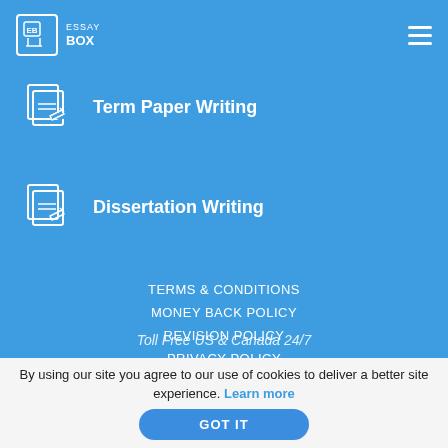ESSAY BOX
Term Paper Writing
Dissertation Writing
TERMS & CONDITIONS
MONEY BACK POLICY
REVISION POLICY
PRIVACY POLICY
COOKIE POLICY
LOCAL WRITING SERVICES
Toll Free US & Canada 24/7
By using our site you agree to our use of cookies to deliver a better site experience. Learn more
GOT IT